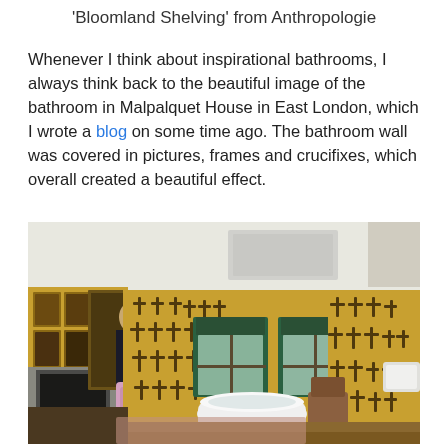'Bloomland Shelving' from Anthropologie
Whenever I think about inspirational bathrooms, I always think back to the beautiful image of the bathroom in Malpalquet House in East London, which I wrote a blog on some time ago. The bathroom wall was covered in pictures, frames and crucifixes, which overall created a beautiful effect.
[Figure (photo): Interior photo of a bathroom at Malpalquet House in East London. The room has yellow/ochre walls densely covered with crucifixes and framed pictures. Features include a freestanding white bathtub, a fireplace with a large portrait above it, a floral armchair, and two windows with green blinds. The room has a dramatic, eclectic Victorian aesthetic.]